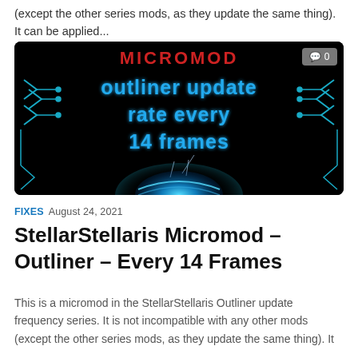(except the other series mods, as they update the same thing). It can be applied...
[Figure (screenshot): Dark themed promotional image for StellarStellaris Micromod showing 'MICROMOD outliner update rate every 14 frames' text in glowing blue/red neon font on a black background with circuit board decorations and a glowing blue planet/snail at the bottom. Comment badge showing '0' in top right corner.]
FIXES  AUGUST 24, 2021
StellarStellaris Micromod – Outliner – Every 14 Frames
This is a micromod in the StellarStellaris Outliner update frequency series. It is not incompatible with any other mods (except the other series mods, as they update the same thing). It